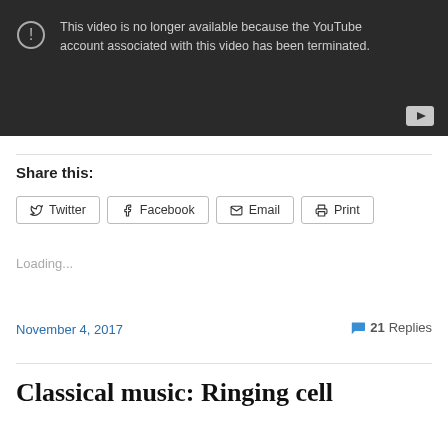[Figure (screenshot): Embedded YouTube video placeholder showing error message: This video is no longer available because the YouTube account associated with this video has been terminated. Dark background with YouTube play button icon in bottom right corner.]
Share this:
Twitter  Facebook  Email  Print
Loading...
November 4, 2017
21 Replies
Classical music: Ringing cell